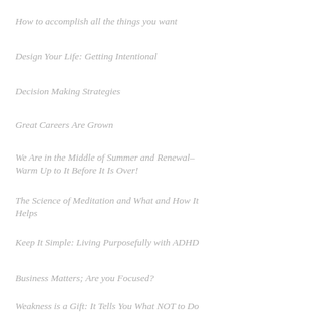How to accomplish all the things you want
Design Your Life: Getting Intentional
Decision Making Strategies
Great Careers Are Grown
We Are in the Middle of Summer and Renewal–Warm Up to It Before It Is Over!
The Science of Meditation and What and How It Helps
Keep It Simple: Living Purposefully with ADHD
Business Matters; Are you Focused?
Weakness is a Gift: It Tells You What NOT to Do